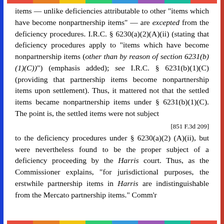items — unlike deficiencies attributable to other "items which have become nonpartnership items" — are excepted from the deficiency procedures. I.R.C. § 6230(a)(2)(A)(ii) (stating that deficiency procedures apply to "items which have become nonpartnership items (other than by reason of section 6231(b)(1)(C))") (emphasis added); see I.R.C. § 6231(b)(1)(C) (providing that partnership items become nonpartnership items upon settlement). Thus, it mattered not that the settled items became nonpartnership items under § 6231(b)(1)(C). The point is, the settled items were not subject
[851 F.3d 209]
to the deficiency procedures under § 6230(a)(2)(A)(ii), but were nevertheless found to be the proper subject of a deficiency proceeding by the Harris court. Thus, as the Commissioner explains, "for jurisdictional purposes, the erstwhile partnership items in Harris are indistinguishable from the Mercato partnership items." Comm'r